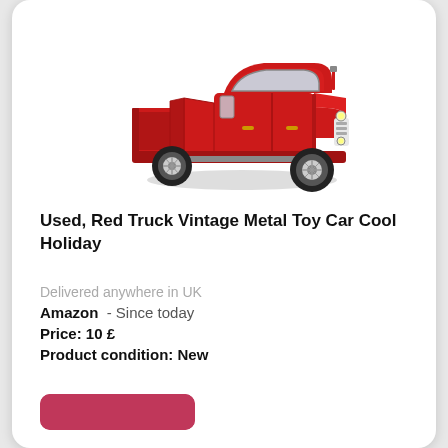[Figure (photo): Red vintage metal toy pickup truck, diecast model with open doors and detailed interior, angled view from front-right]
Used, Red Truck Vintage Metal Toy Car Cool Holiday
Delivered anywhere in UK
Amazon  - Since today
Price: 10 £
Product condition: New